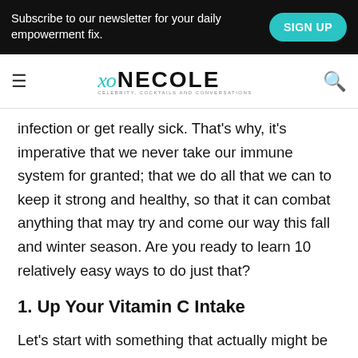Subscribe to our newsletter for your daily empowerment fix. SIGN UP
xo NECOLE
infection or get really sick. That's why, it's imperative that we never take our immune system for granted; that we do all that we can to keep it strong and healthy, so that it can combat anything that may try and come our way this fall and winter season. Are you ready to learn 10 relatively easy ways to do just that?
1. Up Your Vitamin C Intake
Let's start with something that actually might be pretty obvious to most of y'all. The reason why I say